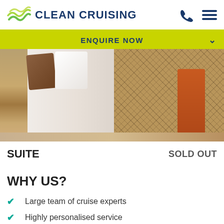CLEAN CRUISING
ENQUIRE NOW
[Figure (photo): Hotel suite room photo showing a bed with white and brown pillows, decorative leaf-patterned carpet, and an orange wooden chair]
SUITE   SOLD OUT
WHY US?
Large team of cruise experts
Highly personalised service
Australian owned
30 years in business